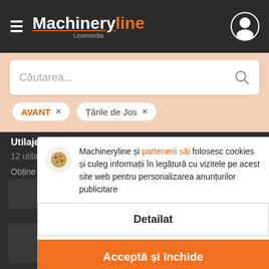Machineryline Linemedia
Căutarea...
AVANT ×
Țările de Jos ×
Utilaje de construcții AVANT din Olanda:
12 utilaje
Obține notificări
Machineryline și partenerii săi folosesc cookies și culeg informații în legătură cu vizitele pe acest site web pentru personalizarea anunțurilor publicitare
Detailat
Acceptă și închide